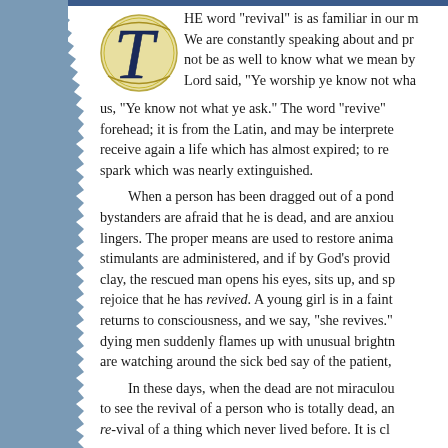HE word "revival" is as familiar in our mouths as household words. We are constantly speaking about and praying for revival. Would it not be as well to know what we mean by it? Our Lord said, "Ye worship ye know not what," and He said to us, "Ye know not what ye ask." The word "revive" wears its meaning on its forehead; it is from the Latin, and may be interpreted thus — to live again; to receive again a life which has almost expired; to rekindle into a flame a spark which was nearly extinguished. When a person has been dragged out of a pond nearly drowned, bystanders are afraid that he is dead, and are anxious to know if life still lingers. The proper means are used to restore animation, friction is used, stimulants are administered, and if by God's providence life returns to the clay, the rescued man opens his eyes, sits up, and speaks, and bystanders rejoice that he has revived. A young girl is in a fainting fit, and presently returns to consciousness, and we say, "she revives." The candle of a dying men suddenly flames up with unusual brightness, and those who are watching around the sick bed say of the patient, In these days, when the dead are not miraculously raised, we do not expect to see the revival of a person who is totally dead, and we cannot expect re-vival of a thing which never lived before. It is clear that a